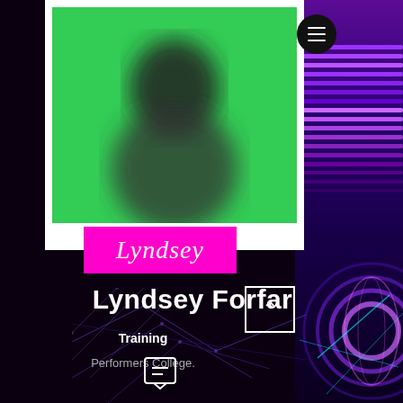[Figure (photo): Blurred profile photo on green background in white polaroid frame]
Lyndsey
Lyndsey Forfar
Training
Performers College.